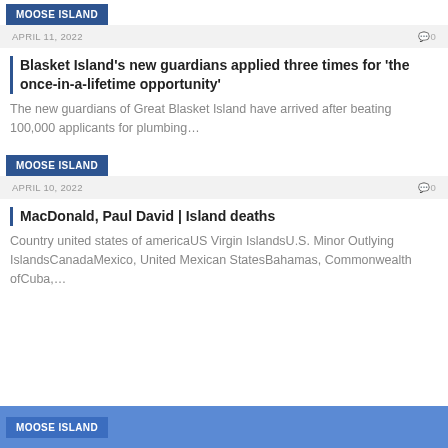MOOSE ISLAND
APRIL 11, 2022   💬0
Blasket Island's new guardians applied three times for 'the once-in-a-lifetime opportunity'
The new guardians of Great Blasket Island have arrived after beating 100,000 applicants for plumbing…
MOOSE ISLAND
APRIL 10, 2022   💬0
MacDonald, Paul David | Island deaths
Country united states of americaUS Virgin IslandsU.S. Minor Outlying IslandsCanadaMexico, United Mexican StatesBahamas, Commonwealth ofCuba,…
MOOSE ISLAND